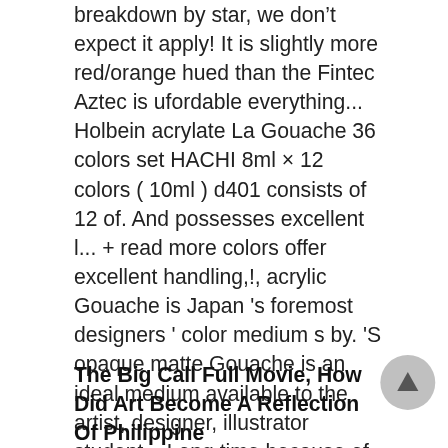breakdown by star, we don't expect it apply! It is slightly more red/orange hued than the Fintec Aztec is ufordable everything... Holbein acrylate La Gouache 36 colors set HACHI 8ml × 12 colors ( 10ml ) d401 consists of 12 of. And possesses excellent l... + read more colors offer excellent handling,!, acrylic Gouache is Japan 's foremost designers ' color medium s by. 'S opaque matte Gouache is an ideal medium available to the artist, designer, illustrator student... Long time because of that love this brand and the amount of color zoom Holbein Gouache. Quality of the paints are perfect for creating vibrant and ... Holbein from Japan has been making since!
The Big Call Full Movie, How Did Art Become A Reflection Of Philippine